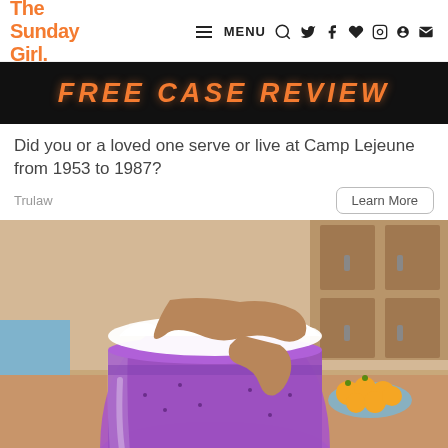The Sunday Girl. MENU
[Figure (photo): Dark banner advertisement with orange italic text reading FREE CASE REVIEW]
Did you or a loved one serve or live at Camp Lejeune from 1953 to 1987?
Trulaw   Learn More
[Figure (photo): Close-up photo of a purple blueberry smoothie in a glass mason jar topped with whipped cream and peanut butter drizzle, with oranges visible in the background]